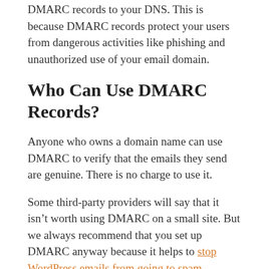DMARC records to your DNS. This is because DMARC records protect your users from dangerous activities like phishing and unauthorized use of your email domain.
Who Can Use DMARC Records?
Anyone who owns a domain name can use DMARC to verify that the emails they send are genuine. There is no charge to use it.
Some third-party providers will say that it isn’t worth using DMARC on a small site. But we always recommend that you set up DMARC anyway because it helps to stop WordPress emails from going to spam.
Where Are DMARC Records Stored?
DMARC records are stored in your DNS in the form of a TXT record. Your DNS also stores SPF and DKIM records.